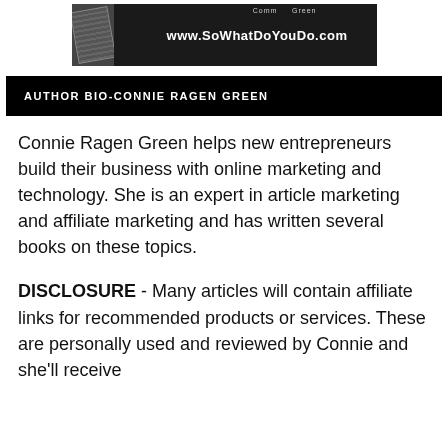[Figure (other): Banner image for www.SoWhatDoYouDo.com with a 'CLICK HERE' red button on a dark background]
AUTHOR BIO-CONNIE RAGEN GREEN
Connie Ragen Green helps new entrepreneurs build their business with online marketing and technology. She is an expert in article marketing and affiliate marketing and has written several books on these topics.
DISCLOSURE - Many articles will contain affiliate links for recommended products or services. These are personally used and reviewed by Connie and she'll receive